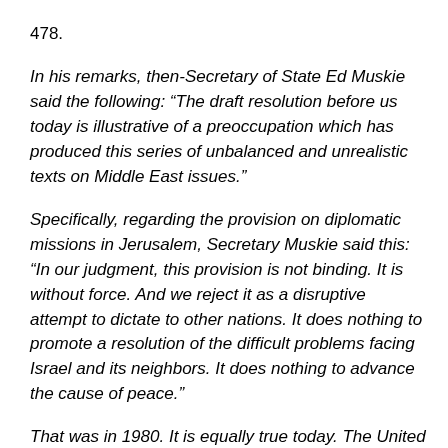478.
In his remarks, then-Secretary of State Ed Muskie said the following: “The draft resolution before us today is illustrative of a preoccupation which has produced this series of unbalanced and unrealistic texts on Middle East issues.”
Specifically, regarding the provision on diplomatic missions in Jerusalem, Secretary Muskie said this: “In our judgment, this provision is not binding. It is without force. And we reject it as a disruptive attempt to dictate to other nations. It does nothing to promote a resolution of the difficult problems facing Israel and its neighbors. It does nothing to advance the cause of peace.”
That was in 1980. It is equally true today. The United